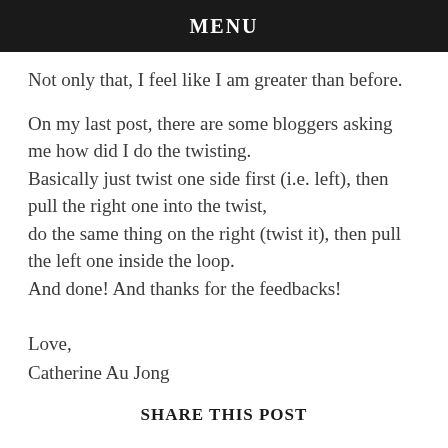MENU
Not only that, I feel like I am greater than before.
On my last post, there are some bloggers asking me how did I do the twisting.
Basically just twist one side first (i.e. left), then pull the right one into the twist,
do the same thing on the right (twist it), then pull the left one inside the loop.
And done! And thanks for the feedbacks!
Love,
Catherine Au Jong
SHARE THIS POST